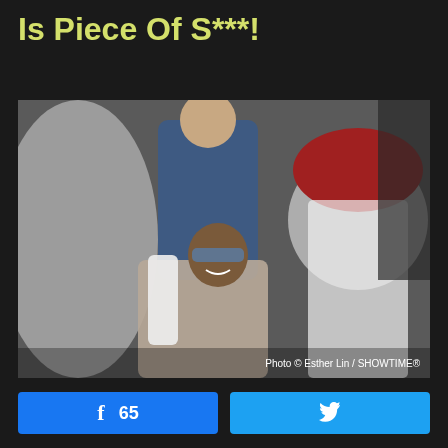Is Piece Of S***!
[Figure (photo): Two men at an outdoor event; one wearing sunglasses and a fur vest, smiling; another facing away wearing a red cap and white shirt; a man in a blue suit visible in background. Photo credit: Photo © Esther Lin / SHOWTIME®]
Photo © Esther Lin / SHOWTIME®
65 (Facebook share count)